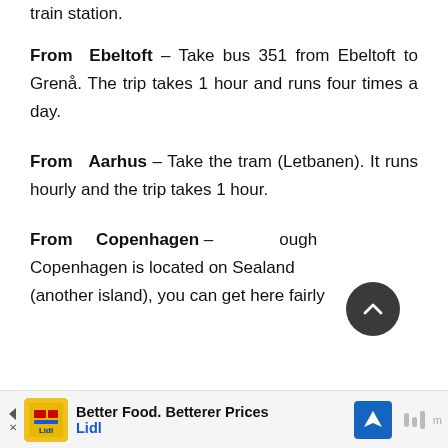train station.
From Ebeltoft – Take bus 351 from Ebeltoft to Grenå. The trip takes 1 hour and runs four times a day.
From Aarhus – Take the tram (Letbanen). It runs hourly and the trip takes 1 hour.
From Copenhagen – Although Copenhagen is located on Sealand (another island), you can get here fairly
[Figure (other): Dark circular scroll-to-top button with upward chevron arrow]
Better Food. Betterer Prices
Lidl